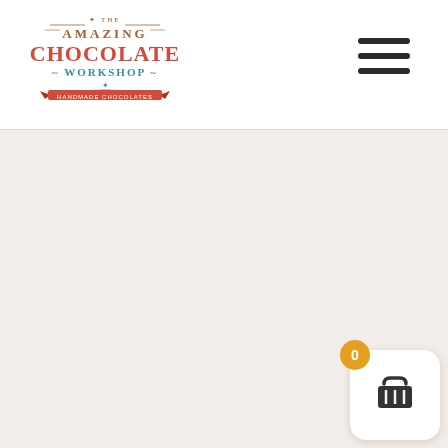[Figure (logo): The Amazing Chocolate Workshop logo with decorative text and ribbon banner]
[Figure (other): Hamburger menu icon with three horizontal lines]
[Figure (other): Shopping cart widget with orange badge showing 0 items, white rounded square background with dark basket icon]